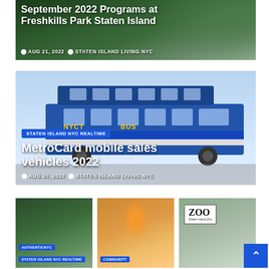[Figure (photo): Header image with green foliage background showing September 2022 Programs at Freshkills Park Staten Island with date and author metadata]
September 2022 Programs at Freshkills Park Staten Island
AUG 21, 2022   STATEN ISLAND LIVING NYC
[Figure (photo): Photo of an NYCT blue double-decker bus. Article card for MetroCard mobile sales vehicles 2022 with tag STATEN ISLAND NYC REALTIME and date AUG 20, 2022, author STATEN ISLAND LIVING NYC]
MetroCard mobile sales vehicles 2022
AUG 20, 2022   STATEN ISLAND LIVING NYC
[Figure (photo): Three bottom article cards side by side: left card with green foliage background tagged AUTHENTICNYC and STATEN ISLAND NYC REALTIME; middle card with orange carnival/fair background tagged COMMUNITY; right card showing Zoo Staten Island Zoo sign]